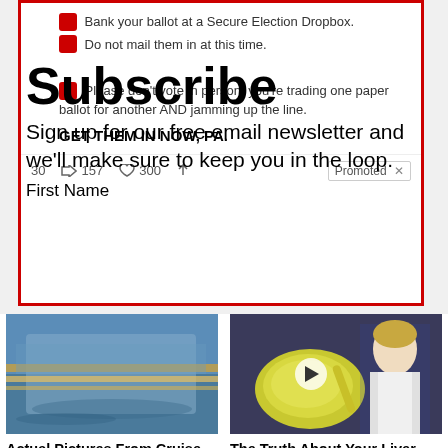[Figure (screenshot): Screenshot of a tweet/social media post inside a red border box. Content includes voting instructions with red icons: 'Bank your ballot at a Secure Election Dropbox.', 'Do not mail them in at this time.', 'Please don’t vote in person: you’re trading one paper ballot for another AND jamming up the line.', 'GET THEM IN NOW, PA.' with engagement stats: 30 retweets, 157 likes, 300 shares. Also shows a 'Promoted X' badge.]
Subscribe
Sign up for our free email newsletter and we’ll make sure to keep you in the loop.
First Name
[Figure (photo): Photo of cruise ship aerial view showing deck and activities]
Actual Pictures From Cruise Ships That Will Make You Think Twice Before Booking A Trip
105,313
[Figure (photo): Photo of a doctor in white coat next to a bowl of olive oil or similar green substance, with a video play button overlay]
The Truth About Your Liver And Belly Fat
6,998